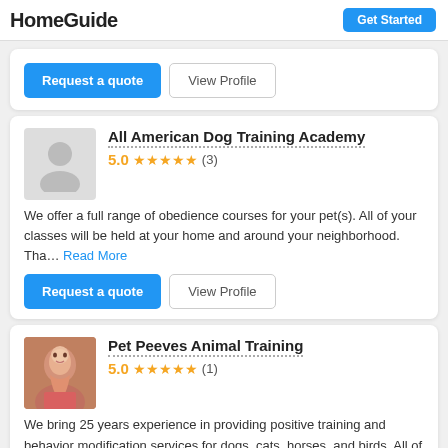HomeGuide
Request a quote | View Profile
All American Dog Training Academy
5.0 ★★★★★ (3)
We offer a full range of obedience courses for your pet(s). All of your classes will be held at your home and around your neighborhood. Tha... Read More
Request a quote | View Profile
Pet Peeves Animal Training
5.0 ★★★★★ (1)
We bring 25 years experience in providing positive training and behavior modification services for dogs, cats, horses, and birds. All of